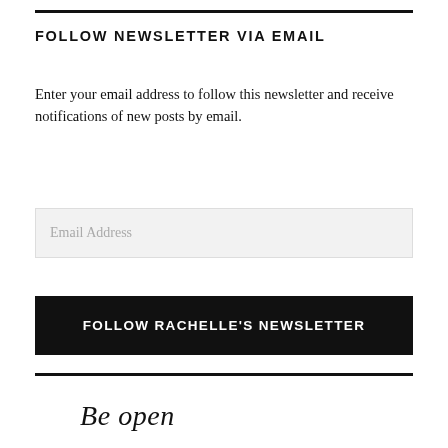FOLLOW NEWSLETTER VIA EMAIL
Enter your email address to follow this newsletter and receive notifications of new posts by email.
Email Address
FOLLOW RACHELLE'S NEWSLETTER
Be open